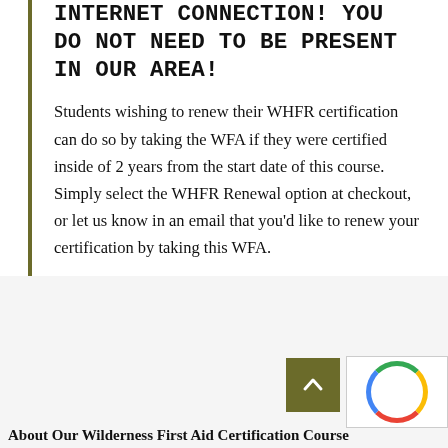INTERNET CONNECTION! YOU DO NOT NEED TO BE PRESENT IN OUR AREA!
Students wishing to renew their WHFR certification can do so by taking the WFA if they were certified inside of 2 years from the start date of this course. Simply select the WHFR Renewal option at checkout, or let us know in an email that you’d like to renew your certification by taking this WFA.
About Our Wilderness First Aid Certification Course